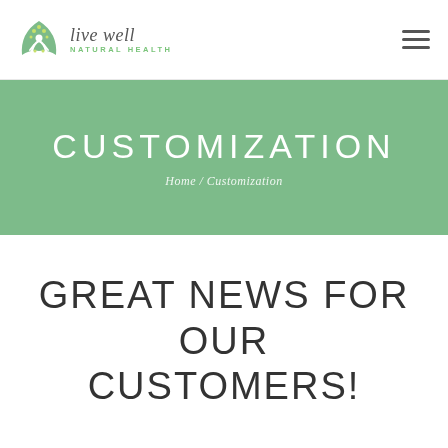Live Well Natural Health
CUSTOMIZATION
Home / Customization
GREAT NEWS FOR OUR CUSTOMERS!